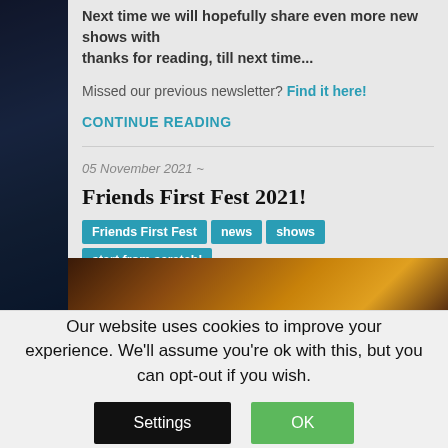Next time we will hopefully share even more new shows with thanks for reading, till next time...
Missed our previous newsletter? Find it here!
CONTINUE READING
05 November 2021 ~
Friends First Fest 2021!
Friends First Fest
news
shows
start from scratch!
It's time to unveil the Friends First Fest plans we've been hinting
[Figure (photo): Dark image strip showing what appears to be guitars or musical instruments]
Our website uses cookies to improve your experience. We'll assume you're ok with this, but you can opt-out if you wish.